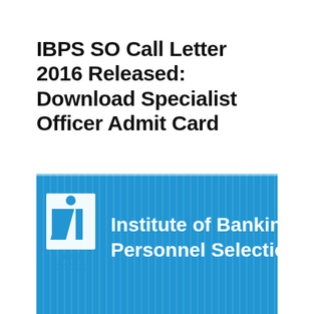IBPS SO Call Letter 2016 Released: Download Specialist Officer Admit Card
[Figure (logo): IBPS (Institute of Banking Personnel Selection) logo on a blue background with vertical stripe pattern. White IBPS logo icon on left and white text reading 'Institute of Banking Personnel Selection' on the right.]